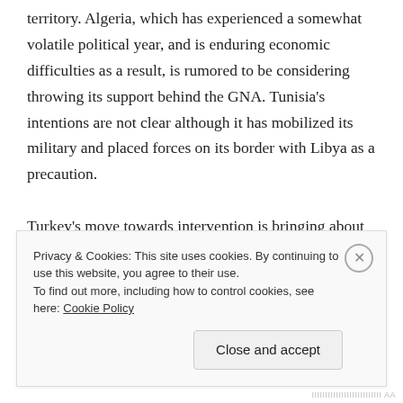territory. Algeria, which has experienced a somewhat volatile political year, and is enduring economic difficulties as a result, is rumored to be considering throwing its support behind the GNA. Tunisia's intentions are not clear although it has mobilized its military and placed forces on its border with Libya as a precaution.

Turkey's move towards intervention is bringing about diplomatic backlash. Many nations are cautioning against the dangers of foreign intervention in Libya, although it should be mentioned that most of the
Privacy & Cookies: This site uses cookies. By continuing to use this website, you agree to their use.
To find out more, including how to control cookies, see here: Cookie Policy
Close and accept